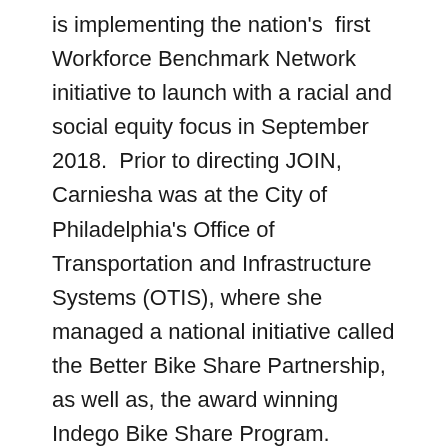is implementing the nation's first Workforce Benchmark Network initiative to launch with a racial and social equity focus in September 2018. Prior to directing JOIN, Carniesha was at the City of Philadelphia's Office of Transportation and Infrastructure Systems (OTIS), where she managed a national initiative called the Better Bike Share Partnership, as well as, the award winning Indego Bike Share Program. Indego is considered the national model for a socially equitable bike share program due to Carniesha's leadership and successful implementation of the system's equity goals. Carniesha has a BA in both African-American Studies and Psychology from Temple University and an MS in Interior Architecture and Design from Drexel University. She resides